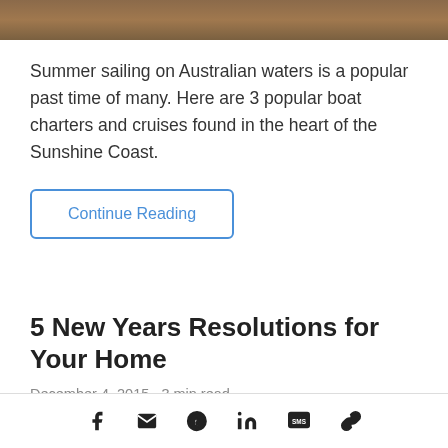[Figure (photo): Partial photo strip at the top of the page showing an outdoor scene, cropped]
Summer sailing on Australian waters is a popular past time of many. Here are 3 popular boat charters and cruises found in the heart of the Sunshine Coast.
Continue Reading
5 New Years Resolutions for Your Home
December 4, 2015 - 3 min read
Social share icons: Facebook, Email, Pinterest, LinkedIn, SMS, Link